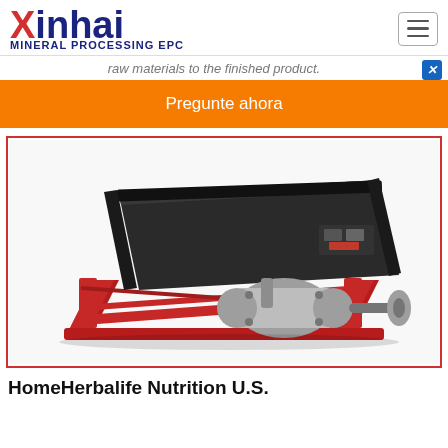Xinhai MINERAL PROCESSING EPC
raw materials to the finished product.
Pregunte ahora
[Figure (photo): Xinhai mineral processing gravity shaking table machine with red metal frame and motor drive unit]
HomeHerbalife Nutrition U.S.